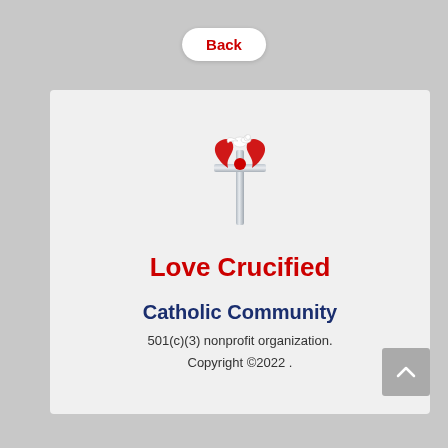Back
[Figure (illustration): A decorative cross with a dove at the top and red heart-shaped ornaments, silver metallic finish.]
Love Crucified
Catholic Community
501(c)(3) nonprofit organization.
Copyright ©2022 .